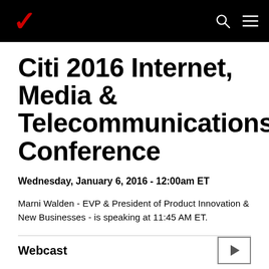Verizon
Citi 2016 Internet, Media & Telecommunications Conference
Wednesday, January 6, 2016 - 12:00am ET
Marni Walden - EVP & President of Product Innovation & New Businesses - is speaking at 11:45 AM ET.
Webcast